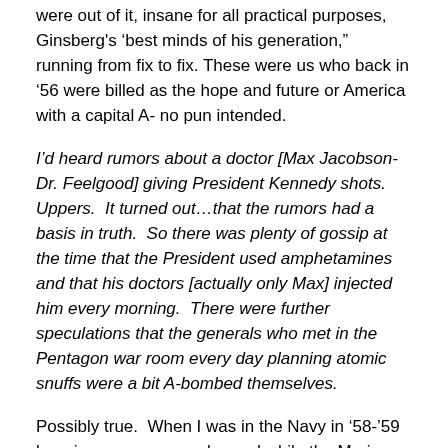were out of it, insane for all practical purposes, Ginsberg's 'best minds of his generation,"  running from fix to fix. These were us who back in '56 were billed as the hope and future or America with a capital A- no pun intended.
I'd heard rumors about a doctor [Max Jacobson- Dr. Feelgood] giving President Kennedy shots.  Uppers.  It turned out…that the rumors had a basis in truth.  So there was plenty of gossip at the time that the President used amphetamines and that his doctors [actually only Max] injected him every morning.  There were further speculations that the generals who met in the Pentagon war room every day planning atomic snuffs were a bit A-bombed themselves.
Possibly true.  When I was in the Navy in '58-'59 bennies were commonly used while the Marine Camp Pendleton